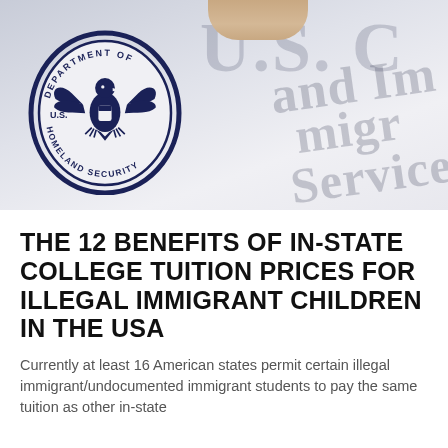[Figure (photo): Photograph of a U.S. Department of Homeland Security official seal/stamp on a document, with partial text 'U.S. C... and Im... Services' visible in the background]
THE 12 BENEFITS OF IN-STATE COLLEGE TUITION PRICES FOR ILLEGAL IMMIGRANT CHILDREN IN THE USA
Currently at least 16 American states permit certain illegal immigrant/undocumented immigrant students to pay the same tuition as other in-state